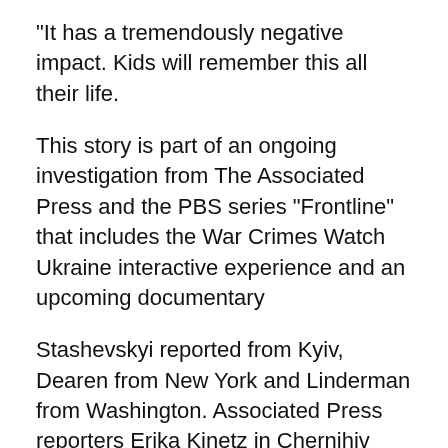"It has a tremendously negative impact. Kids will remember this all their life.
This story is part of an ongoing investigation from The Associated Press and the PBS series "Frontline" that includes the War Crimes Watch Ukraine interactive experience and an upcoming documentary
Stashevskyi reported from Kyiv, Dearen from New York and Linderman from Washington. Associated Press reporters Erika Kinetz in Chernihiv and Michael Biesecker in Washington contributed to this report.